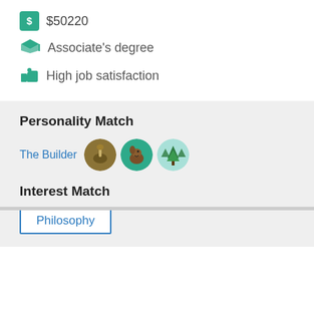$50220
Associate's degree
High job satisfaction
Personality Match
The Builder
Interest Match
Philosophy